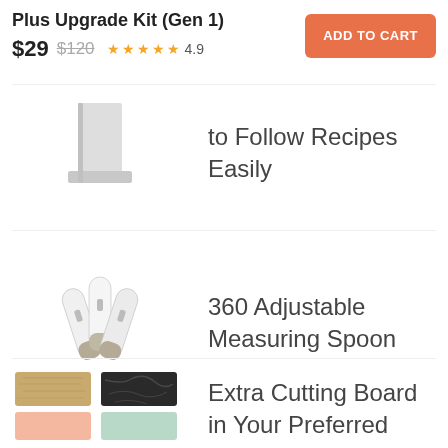Plus Upgrade Kit (Gen 1)
$29  $120  ★★★★★ 4.9
ADD TO CART
[Figure (photo): A white tablet or device stand holder shown partially]
to Follow Recipes Easily
[Figure (photo): Three white adjustable measuring spoons with beige/tan tips arranged in a fan pattern]
360 Adjustable Measuring Spoon
[Figure (photo): Four cutting board swatches: natural wood grain (tan), black marble, peach/pink, and mint green]
Extra Cutting Board in Your Preferred